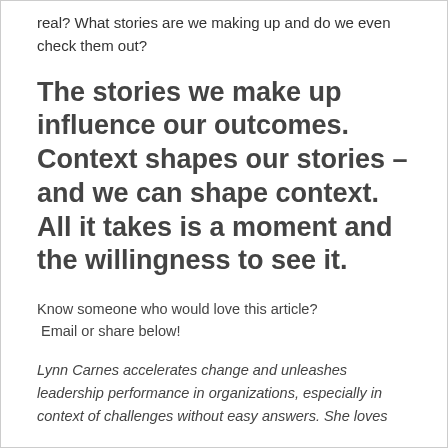real?  What stories are we making up and do we even check them out?
The stories we make up influence our outcomes.  Context shapes our stories – and we can shape context.  All it takes is a moment and the willingness to see it.
Know someone who would love this article?  Email or share below!
Lynn Carnes accelerates change and unleashes leadership performance in organizations, especially in context of challenges without easy answers.  She loves